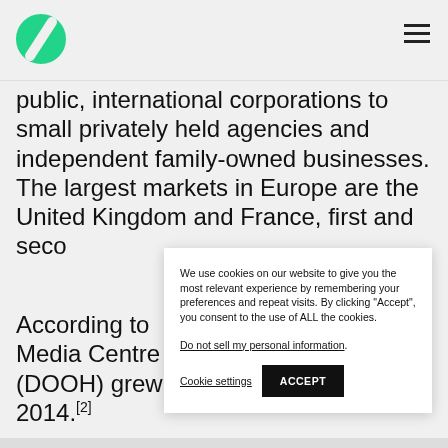[Figure (logo): Green circular logo with a diagonal slash/leaf shape]
public, international corporations to small privately held agencies and independent family-owned businesses. The largest markets in Europe are the United Kingdom and France, first and seco
According to Media Centre (DOOH) grew 2014.[2]
We use cookies on our website to give you the most relevant experience by remembering your preferences and repeat visits. By clicking “Accept”, you consent to the use of ALL the cookies.
Do not sell my personal information.
Cookie settings   ACCEPT